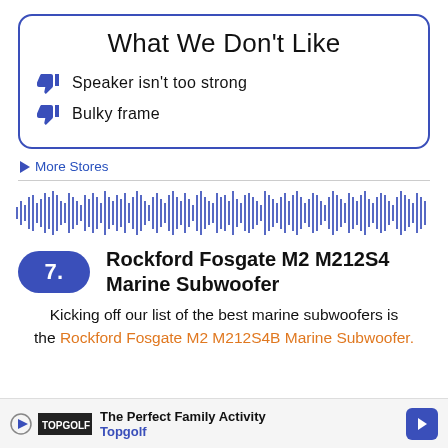What We Don't Like
Speaker isn't too strong
Bulky frame
More Stores
[Figure (other): Audio waveform visualization in blue/dark blue colors]
7. Rockford Fosgate M2 M212S4 Marine Subwoofer
Kicking off our list of the best marine subwoofers is the Rockford Fosgate M2 M212S4B Marine Subwoofer.
The Perfect Family Activity Topgolf